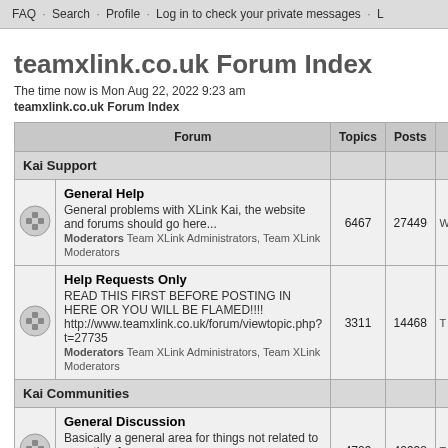FAQ · Search · Profile · Log in to check your private messages · L
teamxlink.co.uk Forum Index
The time now is Mon Aug 22, 2022 9:23 am
teamxlink.co.uk Forum Index
| Forum | Topics | Posts |  |
| --- | --- | --- | --- |
| Kai Support |  |  |  |
| General Help
General problems with XLink Kai, the website and forums should go here...
Moderators Team XLink Administrators, Team XLink Moderators | 6467 | 27449 | W |
| Help Requests Only
READ THIS FIRST BEFORE POSTING IN HERE OR YOU WILL BE FLAMED!!!!
http://www.teamxlink.co.uk/forum/viewtopic.php?t=27735
Moderators Team XLink Administrators, Team XLink Moderators | 3311 | 14468 | T |
| Kai Communities |  |  |  |
| General Discussion
Basically a general area for things not related to any other forums...
Moderators Team XLink Administrators, Team XLink Moderators | 4709 | 40938 | T |
| Xbox Community
Discussion about Xbox related game questions / | 4157 | 33483 |  |